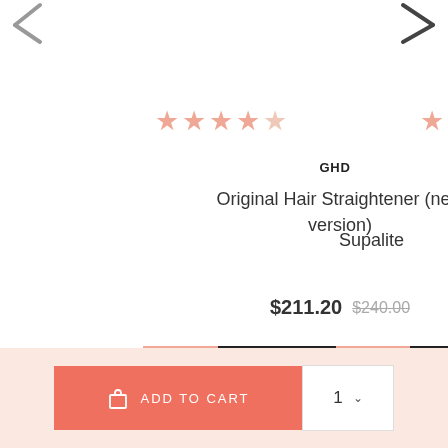[Figure (other): Left navigation arrow (back), partially cut off at top-left]
[Figure (other): Right navigation arrow (forward), partially cut off at top-right]
★★★★☆ (4 stars out of 5)
GHD
Original Hair Straightener (new version)
Supalite (partial, right side)
$211.20  $240.00 (strikethrough)
View | Add to cart
View (partial right)
YOU MIGHT ALSO LIKE
ADD TO CART  1 ∨